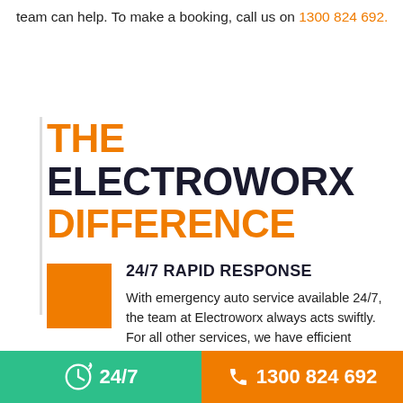team can help. To make a booking, call us on 1300 824 692.
THE ELECTROWORX DIFFERENCE
24/7 RAPID RESPONSE
With emergency auto service available 24/7, the team at Electroworx always acts swiftly. For all other services, we have efficient turnaround times to ensure all electrical work is done in time and you are not out of action for longer than you should be.
24/7   1300 824 692